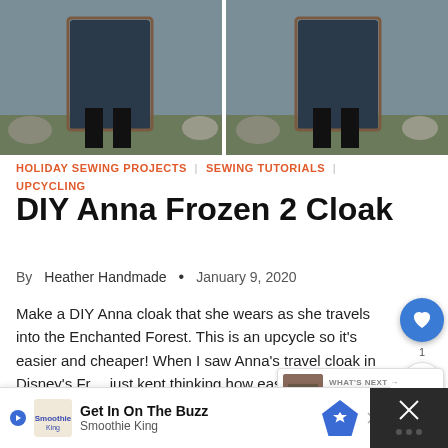[Figure (photo): Two side-by-side photos of a person wearing a dark navy blue cloak with brown trim, standing outdoors near rocks and grass.]
HOLIDAY SEWING PROJECTS | SEWING TUTORIALS | UPCYCLING
DIY Anna Frozen 2 Cloak
By Heather Handmade  •  January 9, 2020
Make a DIY Anna cloak that she wears as she travels into the Enchanted Forest. This is an upcycle so it's easier and cheaper! When I saw Anna's travel cloak in Disney's Fr… just kept thinking how easy it would be to make from a skirt. It's essentially a skirt in a b…
[Figure (screenshot): WHAT'S NEXT panel showing thumbnail and title '25 Upcycled Costumes fo...']
Get In On The Buzz
Smoothie King